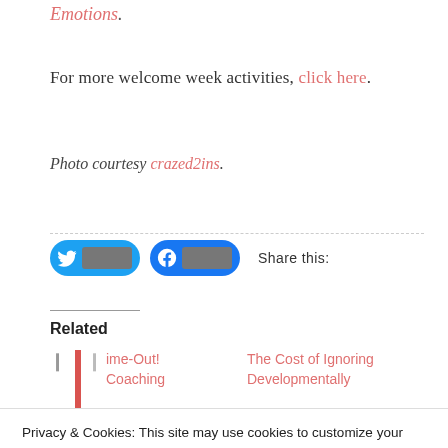Emotions.
For more welcome week activities, click here.
Photo courtesy crazed2ins.
[Figure (other): Twitter and Facebook share buttons with 'Share this:' label]
Related
ime-Out! Coaching
The Cost of Ignoring Developmentally
Privacy & Cookies: This site may use cookies to customize your experience. Learn more by reading our Privacy Policy.
Close and accept